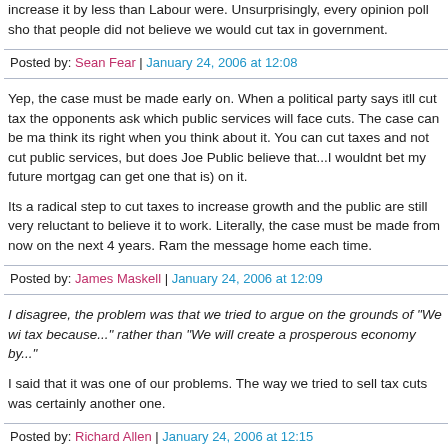increase it by less than Labour were. Unsurprisingly, every opinion poll sho that people did not believe we would cut tax in government.
Posted by: Sean Fear | January 24, 2006 at 12:08
Yep, the case must be made early on. When a political party says itll cut tax the opponents ask which public services will face cuts. The case can be ma think its right when you think about it. You can cut taxes and not cut public services, but does Joe Public believe that...I wouldnt bet my future mortga can get one that is) on it.
Its a radical step to cut taxes to increase growth and the public are still very reluctant to believe it to work. Literally, the case must be made from now on the next 4 years. Ram the message home each time.
Posted by: James Maskell | January 24, 2006 at 12:09
I disagree, the problem was that we tried to argue on the grounds of "We wi tax because..." rather than "We will create a prosperous economy by..."
I said that it was one of our problems. The way we tried to sell tax cuts was certainly another one.
Posted by: Richard Allen | January 24, 2006 at 12:15